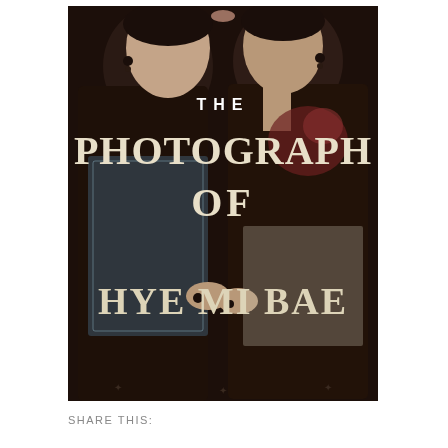[Figure (illustration): Book cover for 'The Photograph of Hye Mi Bae'. Dark, moody photographic cover showing two people kissing at the top, with ornate lace and tattoo details. Large bold serif text overlays the image with the title in distressed/vintage style white-cream lettering on dark background.]
SHARE THIS: